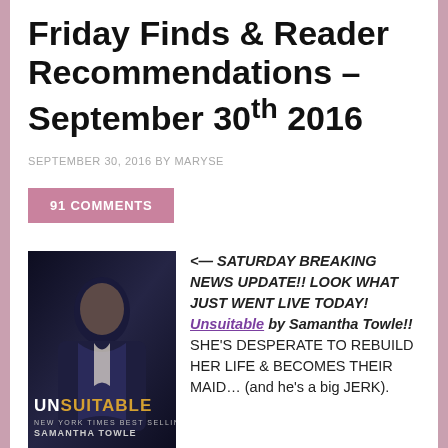Friday Finds & Reader Recommendations – September 30th 2016
SEPTEMBER 30, 2016 BY MARYSE
91 COMMENTS
[Figure (photo): Book cover of 'Unsuitable' by Samantha Towle showing a dark-haired man in a suit against a dark background]
<— SATURDAY BREAKING NEWS UPDATE!! LOOK WHAT JUST WENT LIVE TODAY! Unsuitable by Samantha Towle!! SHE'S DESPERATE TO REBUILD HER LIFE & BECOMES THEIR MAID… (and he's a big JERK).